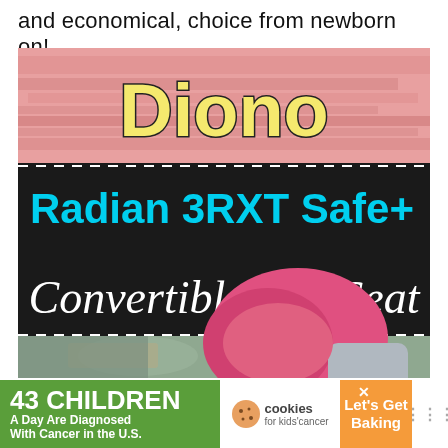and economical, choice from newborn on!
[Figure (photo): Promotional image for Diono Radian 3RXT Safe+ Convertible Car Seat. Top section shows a pink brushstroke background with the Diono logo in yellow outlined text. Below is a dark banner with white dashed border showing 'Radian 3RXT Safe+' in teal/cyan text and 'Convertible Car Seat' in white script. The lower portion shows a photo of a pink Diono car seat installed in a vehicle with a blurred outdoor background.]
43 CHILDREN A Day Are Diagnosed With Cancer in the U.S.
[Figure (logo): Cookies for Kids' Cancer logo]
Let's Get Baking